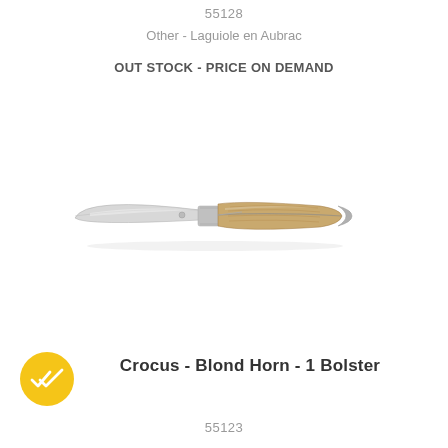55128
Other - Laguiole en Aubrac
OUT STOCK - PRICE ON DEMAND
[Figure (photo): A Laguiole folding knife with a patterned steel blade and a blond horn handle with one bolster, photographed horizontally on a white background.]
Crocus - Blond Horn - 1 Bolster
55123
[Figure (logo): A gold/yellow circular badge with a white double-check mark icon inside.]